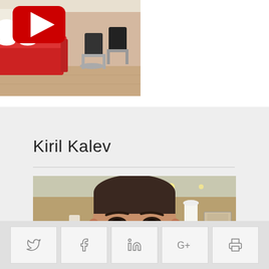[Figure (photo): A salon interior with a red sofa, chairs, and a YouTube play button overlay]
Kiril Kalev
[Figure (photo): Portrait photo of Kiril Kalev, a middle-aged man smiling, taken indoors]
Social share buttons: Twitter, Facebook, LinkedIn, Google+, Print